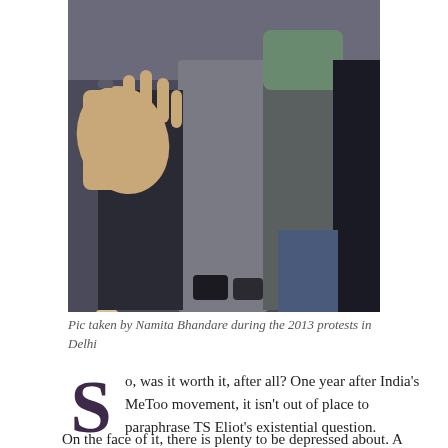[Figure (photo): Protest scene showing people with raised hands and outstretched arms in a crowd, taken during the 2013 protests in Delhi]
Pic taken by Namita Bhandare during the 2013 protests in Delhi
So, was it worth it, after all? One year after India's MeToo movement, it isn't out of place to paraphrase TS Eliot's existential question.
On the face of it, there is plenty to be depressed about. A